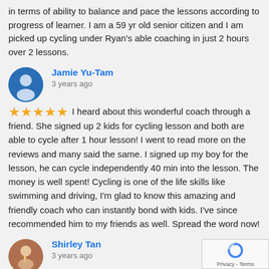in terms of ability to balance and pace the lessons according to progress of learner. I am a 59 yr old senior citizen and I am picked up cycling under Ryan's able coaching in just 2 hours over 2 lessons.
Jamie Yu-Tam
3 years ago
★★★★★ I heard about this wonderful coach through a friend. She signed up 2 kids for cycling lesson and both are able to cycle after 1 hour lesson! I went to read more on the reviews and many said the same. I signed up my boy for the lesson, he can cycle independently 40 min into the lesson. The money is well spent! Cycling is one of the life skills like swimming and driving, I'm glad to know this amazing and friendly coach who can instantly bond with kids. I've since recommended him to my friends as well. Spread the word now!
Shirley Tan
3 years ago
★★★★★ Ryan is very professional & fun child really enjoy the lesson. I'm amazed she can cycle